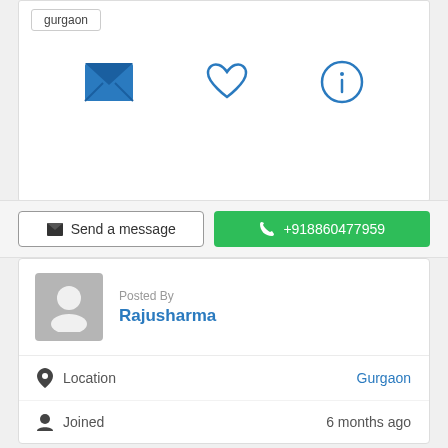gurgaon
[Figure (illustration): Three icons: envelope (message), heart (favorite), and info circle]
✉ Send a message
+918860477959
Posted By
Rajusharma
Location
Gurgaon
Joined
6 months ago